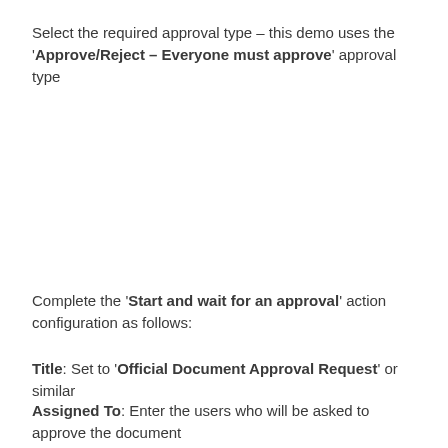Select the required approval type – this demo uses the 'Approve/Reject – Everyone must approve' approval type
Complete the 'Start and wait for an approval' action configuration as follows:
Title: Set to 'Official Document Approval Request' or similar
Assigned To: Enter the users who will be asked to approve the document